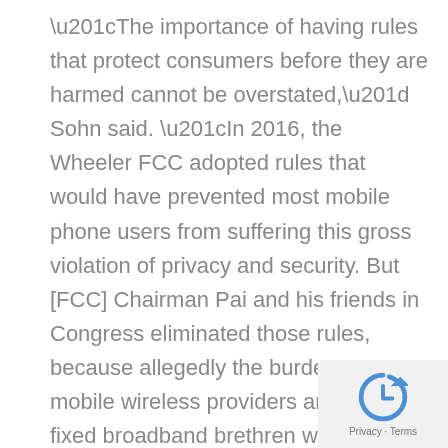“The importance of having rules that protect consumers before they are harmed cannot be overstated,” Sohn said. “In 2016, the Wheeler FCC adopted rules that would have prevented most mobile phone users from suffering this gross violation of privacy and security. But [FCC] Chairman Pai and his friends in Congress eliminated those rules, because allegedly the burden on mobile wireless providers and their fixed broadband brethren would be too great. Clearly, they did not think for one minute about the harm that could befall consumers in the absence of strong privacy protections.”